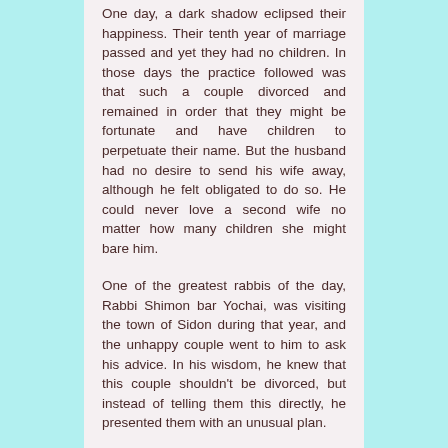One day, a dark shadow eclipsed their happiness. Their tenth year of marriage passed and yet they had no children. In those days the practice followed was that such a couple divorced and remained in order that they might be fortunate and have children to perpetuate their name. But the husband had no desire to send his wife away, although he felt obligated to do so. He could never love a second wife no matter how many children she might bare him.
One of the greatest rabbis of the day, Rabbi Shimon bar Yochai, was visiting the town of Sidon during that year, and the unhappy couple went to him to ask his advice. In his wisdom, he knew that this couple shouldn't be divorced, but instead of telling them this directly, he presented them with an unusual plan.
"Your marriage was celebrated with wonderful feast. Now...